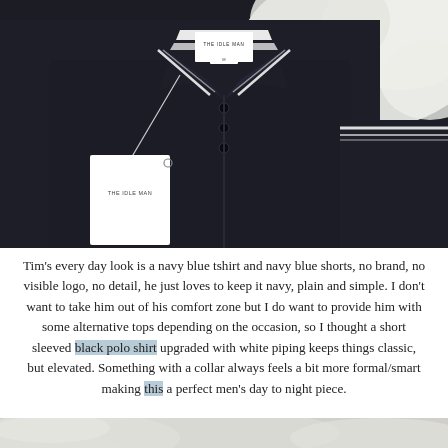[Figure (photo): Close-up flat lay photo of a black polo shirt with white tipped collar and cuffs, showing brand label 'THE IDLE MAN' and price tag, laid on a white fluffy surface.]
Tim's every day look is a navy blue tshirt and navy blue shorts, no brand, no visible logo, no detail, he just loves to keep it navy, plain and simple. I don't want to take him out of his comfort zone but I do want to provide him with some alternative tops depending on the occasion, so I thought a short sleeved black polo shirt upgraded with white piping keeps things classic, but elevated. Something with a collar always feels a bit more formal/smart making this a perfect men's day to night piece.
[Figure (photo): Bottom partial photo showing a white fluffy surface similar to the top image.]